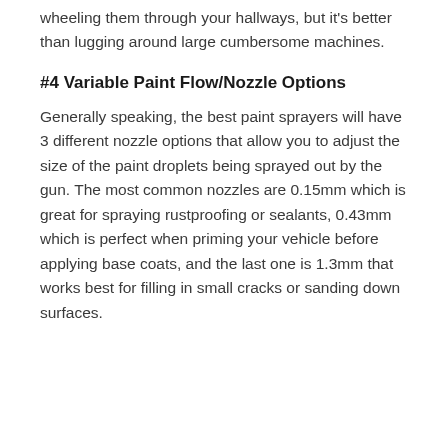wheeling them through your hallways, but it's better than lugging around large cumbersome machines.
#4 Variable Paint Flow/Nozzle Options
Generally speaking, the best paint sprayers will have 3 different nozzle options that allow you to adjust the size of the paint droplets being sprayed out by the gun. The most common nozzles are 0.15mm which is great for spraying rustproofing or sealants, 0.43mm which is perfect when priming your vehicle before applying base coats, and the last one is 1.3mm that works best for filling in small cracks or sanding down surfaces.